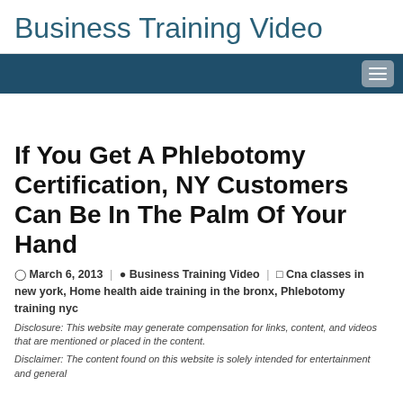Business Training Video
If You Get A Phlebotomy Certification, NY Customers Can Be In The Palm Of Your Hand
March 6, 2013 | Business Training Video | Cna classes in new york, Home health aide training in the bronx, Phlebotomy training nyc
Disclosure: This website may generate compensation for links, content, and videos that are mentioned or placed in the content.
Disclaimer: The content found on this website is solely intended for entertainment and general